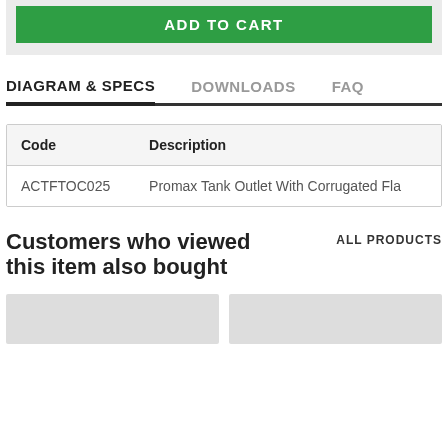[Figure (other): Green ADD TO CART button]
DIAGRAM & SPECS | DOWNLOADS | FAQ
| Code | Description |
| --- | --- |
| ACTFTOC025 | Promax Tank Outlet With Corrugated Fla |
Customers who viewed this item also bought
ALL PRODUCTS
[Figure (other): Two product thumbnail placeholder images]